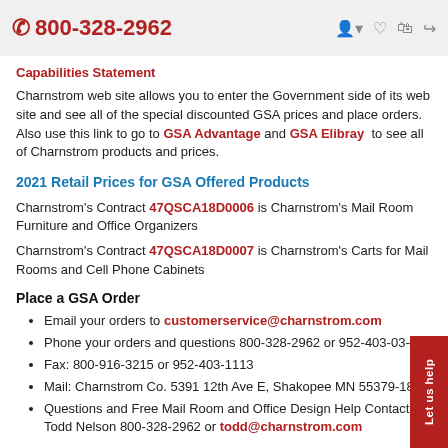📞 800-328-2962
Capabilities Statement
Charnstrom web site allows you to enter the Government side of its web site and see all of the special discounted GSA prices and place orders. Also use this link to go to GSA Advantage and GSA Elibray to see all of Charnstrom products and prices.
2021 Retail Prices for GSA Offered Products
Charnstrom's Contract 47QSCA18D0006 is Charnstrom's Mail Room Furniture and Office Organizers
Charnstrom's Contract 47QSCA18D0007 is Charnstrom's Carts for Mail Rooms and Cell Phone Cabinets
Place a GSA Order
Email your orders to customerservice@charnstrom.com
Phone your orders and questions 800-328-2962 or 952-403-03--
Fax: 800-916-3215 or 952-403-1113
Mail: Charnstrom Co. 5391 12th Ave E, Shakopee MN 55379-18--
Questions and Free Mail Room and Office Design Help Contact Todd Nelson 800-328-2962 or todd@charnstrom.com